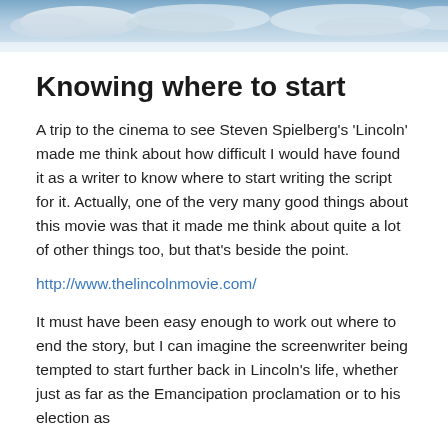[Figure (photo): Sky with clouds header image banner]
Knowing where to start
A trip to the cinema to see Steven Spielberg's 'Lincoln' made me think about how difficult I would have found it as a writer to know where to start writing the script for it. Actually, one of the very many good things about this movie was that it made me think about quite a lot of other things too, but that's beside the point.
http://www.thelincolnmovie.com/
It must have been easy enough to work out where to end the story, but I can imagine the screenwriter being tempted to start further back in Lincoln's life, whether just as far as the Emancipation proclamation or to his election as